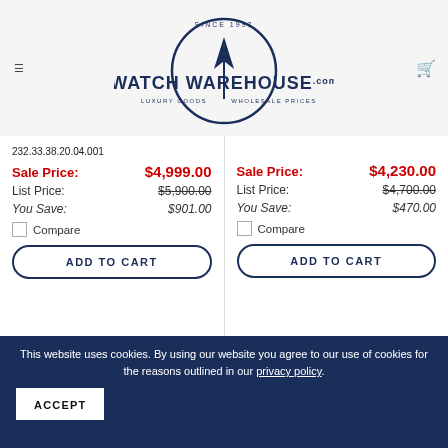[Figure (logo): Watch Warehouse logo with circle, arrow/compass icon, text SINCE 1997, LUXURY GOODS, WHOLESALE PRICES]
232.33.38.20.04.001
Sale Price: $4,999.00
List Price: $5,900.00
You Save: $901.00
Compare
ADD TO CART
Sale Price: $4,230.00
List Price: $4,700.00
You Save: $470.00
Compare
ADD TO CART
This website uses cookies. By using our website you agree to our use of cookies for the reasons outlined in our privacy policy.
ACCEPT